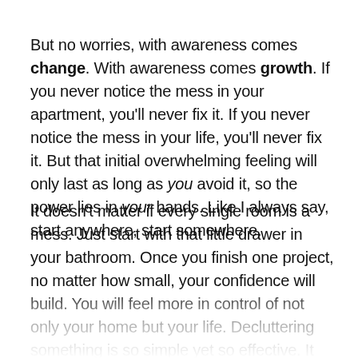But no worries, with awareness comes change. With awareness comes growth. If you never notice the mess in your apartment, you'll never fix it. If you never notice the mess in your life, you'll never fix it. But that initial overwhelming feeling will only last as long as you avoid it, so the power lies in your hands. Like I always say, start anywhere, start somewhere.
It doesn't matter if every single room is a mess. Just start with that little drawer in your bathroom. Once you finish one project, no matter how small, your confidence will build. You will feel more in control of not only your home but your life. Decluttering something is so simple yet so effective. It has a ripple effect on other areas of your life. I truly believe a messy apartment equals a messy mind. What do you think an organized apartment equals? Yep, you got it.